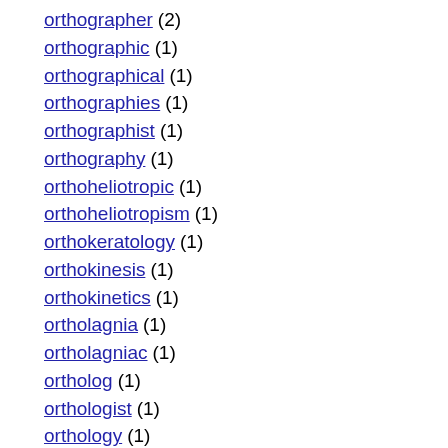orthographer (2)
orthographic (1)
orthographical (1)
orthographies (1)
orthographist (1)
orthography (1)
orthoheliotropic (1)
orthoheliotropism (1)
orthokeratology (1)
orthokinesis (1)
orthokinetics (1)
ortholagnia (1)
ortholagniac (1)
ortholog (1)
orthologist (1)
orthology (1)
orthomechanotherapy (1)
orthomelic (1)
orthometer (1)
orthometry (1)
orthomolecular (1)